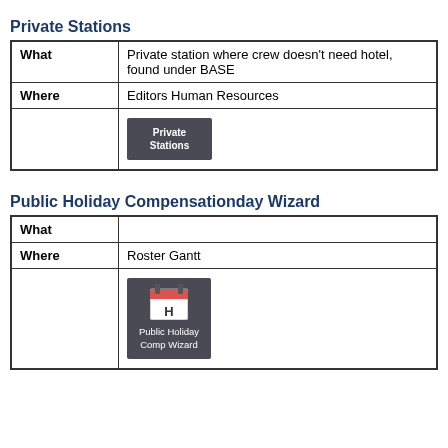Private Stations
|  |  |
| --- | --- |
| What | Private station where crew doesn't need hotel, found under BASE |
| Where | Editors Human Resources |
|  | [Private Stations button image] |
Public Holiday Compensationday Wizard
|  |  |
| --- | --- |
| What |  |
| Where | Roster Gantt |
|  | [Public Holiday Comp Wizard button image] |